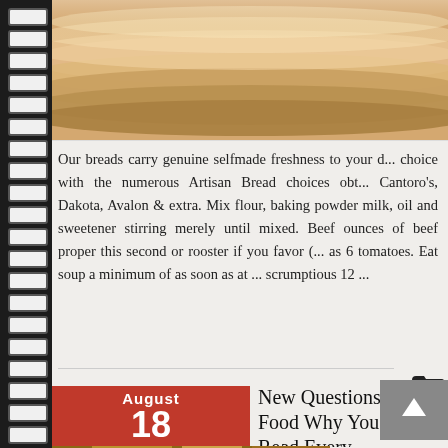[Figure (photo): Close-up photo of stacked flatbreads or tortillas in warm beige tones]
Our breads carry genuine selfmade freshness to your d... choice with the numerous Artisan Bread choices obt... Cantoro's, Dakota, Avalon & extra. Mix flour, baking powder milk, oil and sweetener stirring merely until mixed. Beef ounces of beef proper this second or rooster if you favor (... as 6 tomatoes. Eat soup a minimum of as soon as at ... scrumptious 12 ...
[Figure (other): Folder icon]
New Questions About Food Why You Should Read Every...
[Figure (photo): Bottom food photo strip showing bread or food items]